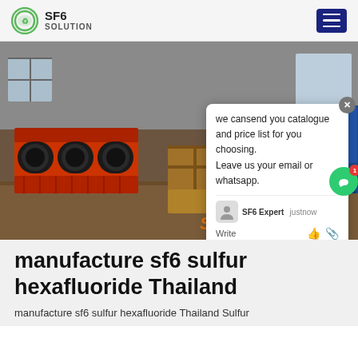SF6 SOLUTION
[Figure (photo): Industrial factory interior showing SF6 gas handling equipment - orange/red compressor machine on the left, wooden crates/boxes in the center-background, blue truck on the right, concrete floor. Chat popup overlay visible with text: 'we cansend you catalogue and price list for you choosing. Leave us your email or whatsapp.' SF6China watermark in orange bottom right.]
manufacture sf6 sulfur hexafluoride Thailand
manufacture sf6 sulfur hexafluoride Thailand Sulfur